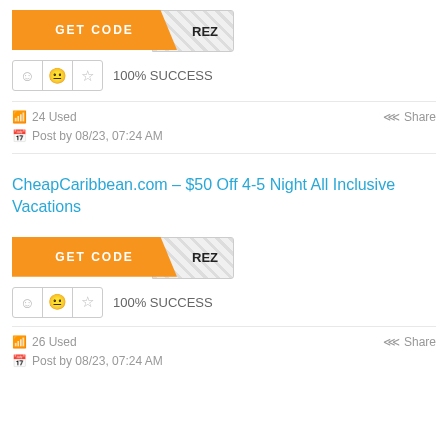[Figure (screenshot): GET CODE button in orange with diagonal cut and hatched right panel showing 'REZ' text]
100% SUCCESS
24 Used   Share   Post by 08/23, 07:24 AM
CheapCaribbean.com – $50 Off 4-5 Night All Inclusive Vacations
[Figure (screenshot): GET CODE button in orange with diagonal cut and hatched right panel showing 'REZ' text]
100% SUCCESS
26 Used   Share   Post by 08/23, 07:24 AM